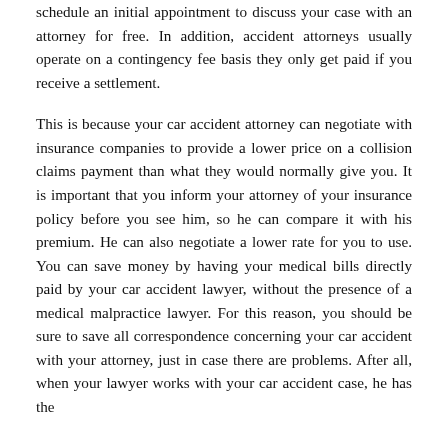schedule an initial appointment to discuss your case with an attorney for free. In addition, accident attorneys usually operate on a contingency fee basis they only get paid if you receive a settlement.
This is because your car accident attorney can negotiate with insurance companies to provide a lower price on a collision claims payment than what they would normally give you. It is important that you inform your attorney of your insurance policy before you see him, so he can compare it with his premium. He can also negotiate a lower rate for you to use. You can save money by having your medical bills directly paid by your car accident lawyer, without the presence of a medical malpractice lawyer. For this reason, you should be sure to save all correspondence concerning your car accident with your attorney, just in case there are problems. After all, when your lawyer works with your car accident case, he has the